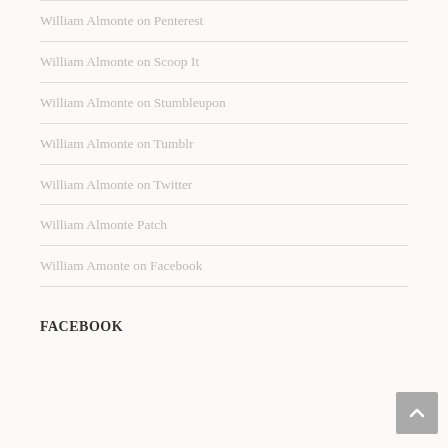William Almonte on Penterest
William Almonte on Scoop It
William Almonte on Stumbleupon
William Almonte on Tumblr
William Almonte on Twitter
William Almonte Patch
William Amonte on Facebook
FACEBOOK